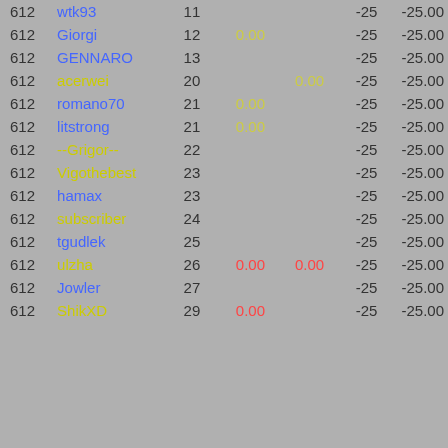|  | Name | # | V1 | V2 | Score | Total |
| --- | --- | --- | --- | --- | --- | --- |
| 612 | wtk93 | 11 |  |  | -25 | -25.00 |
| 612 | Giorgi | 12 | 0.00 |  | -25 | -25.00 |
| 612 | GENNARO | 13 |  |  | -25 | -25.00 |
| 612 | acerwei | 20 |  | 0.00 | -25 | -25.00 |
| 612 | romano70 | 21 | 0.00 |  | -25 | -25.00 |
| 612 | litstrong | 21 | 0.00 |  | -25 | -25.00 |
| 612 | --Grigor-- | 22 |  |  | -25 | -25.00 |
| 612 | Vigothebest | 23 |  |  | -25 | -25.00 |
| 612 | hamax | 23 |  |  | -25 | -25.00 |
| 612 | subscriber | 24 |  |  | -25 | -25.00 |
| 612 | tgudlek | 25 |  |  | -25 | -25.00 |
| 612 | ulzha | 26 | 0.00 | 0.00 | -25 | -25.00 |
| 612 | Jowler | 27 |  |  | -25 | -25.00 |
| 612 | ShikXD | 29 | 0.00 |  | -25 | -25.00 |